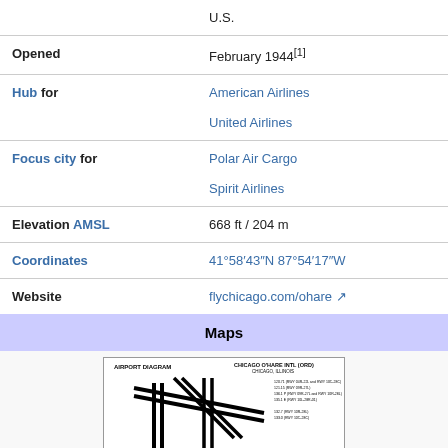| Property | Value |
| --- | --- |
|  | U.S. |
| Opened | February 1944[1] |
| Hub for | American Airlines
United Airlines |
| Focus city for | Polar Air Cargo
Spirit Airlines |
| Elevation AMSL | 668 ft / 204 m |
| Coordinates | 41°58′43″N 87°54′17″W |
| Website | flychicago.com/ohare ↗ |
Maps
[Figure (engineering-diagram): Airport diagram for Chicago O'Hare International Airport (ORD), Chicago, Illinois. Black and white runway/taxiway schematic.]